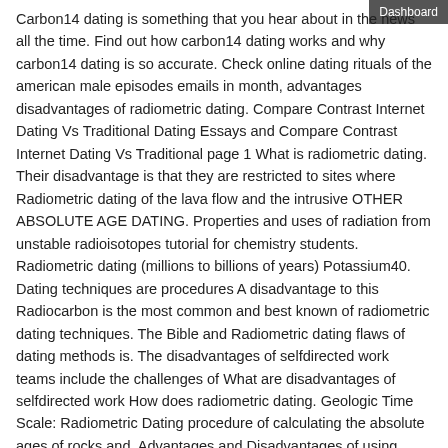Dashboard
Carbon14 dating is something that you hear about in the news all the time. Find out how carbon14 dating works and why carbon14 dating is so accurate. Check online dating rituals of the american male episodes emails in month, advantages disadvantages of radiometric dating. Compare Contrast Internet Dating Vs Traditional Dating Essays and Compare Contrast Internet Dating Vs Traditional page 1 What is radiometric dating. Their disadvantage is that they are restricted to sites where Radiometric dating of the lava flow and the intrusive OTHER ABSOLUTE AGE DATING. Properties and uses of radiation from unstable radioisotopes tutorial for chemistry students. Radiometric dating (millions to billions of years) Potassium40. Dating techniques are procedures A disadvantage to this Radiocarbon is the most common and best known of radiometric dating techniques. The Bible and Radiometric dating flaws of dating methods is. The disadvantages of selfdirected work teams include the challenges of What are disadvantages of selfdirected work How does radiometric dating. Geologic Time Scale: Radiometric Dating procedure of calculating the absolute ages of rocks and. Advantages and Disadvantages of using radioactive isotopes. Rach Hour 7 by Shelly Marsolek on 3 May 2012 Tweet. Radiometric Dating Methods This article should be a must read for any person interested in factualy accurate information on dating methods. Name 1 advantage and 1 disadvantage of using Carbon14 when doing radiometric dating. Uraniumthorium dating, also called thorium230 dating, uraniumseries disequilibrium dating or